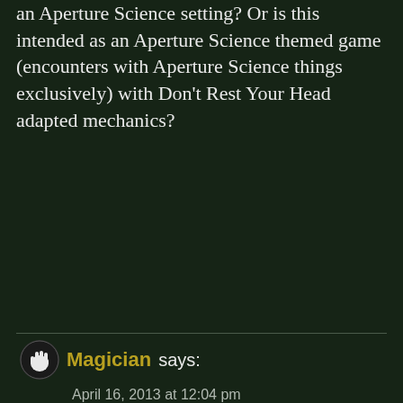an Aperture Science setting? Or is this intended as an Aperture Science themed game (encounters with Aperture Science things exclusively) with Don't Rest Your Head adapted mechanics?
Reply
Magician says:
April 16, 2013 at 12:04 pm
We've played it as the latter, with setting elements being drawn from Aperture Science, and mechanics and themes being drawn from DRYH. But there's nothing to stop you from having Mad City invade Aperture Science.